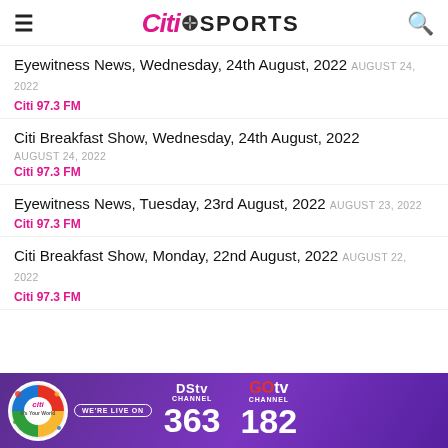Citi SPORTS
Eyewitness News, Wednesday, 24th August, 2022 AUGUST 24, 2022
Citi 97.3 FM
Citi Breakfast Show, Wednesday, 24th August, 2022 AUGUST 24, 2022
Citi 97.3 FM
Eyewitness News, Tuesday, 23rd August, 2022 AUGUST 23, 2022
Citi 97.3 FM
Citi Breakfast Show, Monday, 22nd August, 2022 AUGUST 22, 2022
Citi 97.3 FM
[Figure (infographic): DStv Channel 363 and GOtv Channel 182 advertisement banner with Citi FM logo and 'We're Live On' text]